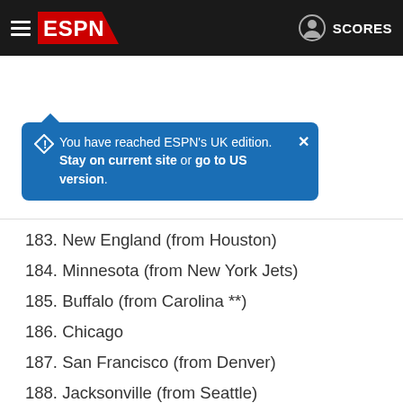[Figure (screenshot): ESPN navigation bar with hamburger menu, ESPN logo, user icon, and SCORES link]
You have reached ESPN's UK edition. Stay on current site or go to US version.
183. New England (from Houston)
184. Minnesota (from New York Jets)
185. Buffalo (from Carolina **)
186. Chicago
187. San Francisco (from Denver)
188. Jacksonville (from Seattle)
189. Washington
190. Atlanta
191. Minnesota (from Baltimore through Kansas City **)
192. Minnesota
193. Dallas (from Cleveland)
194. New Orleans (from Indianapolis through Philadelphia)
195. Los Angeles Chargers
196. Baltimore (from Miami)